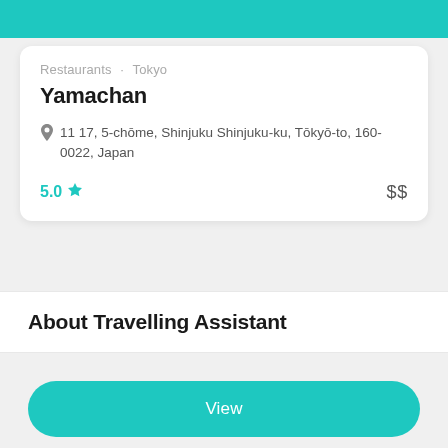[Figure (other): Teal banner at top of page, partially showing content above]
Restaurants · Tokyo
Yamachan
11 17, 5-chōme, Shinjuku Shinjuku-ku, Tōkyō-to, 160-0022, Japan
5.0 ★  $$
About Travelling Assistant
View